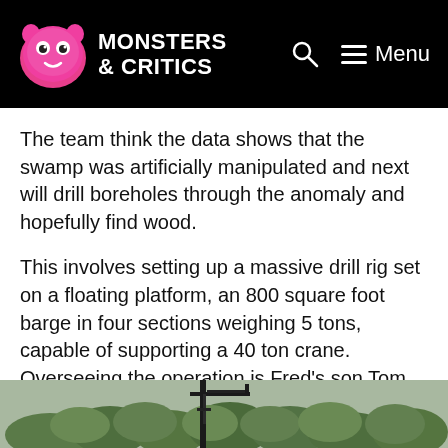Monsters & Critics — Menu
The team think the data shows that the swamp was artificially manipulated and next will drill boreholes through the anomaly and hopefully find wood.
This involves setting up a massive drill rig set on a floating platform, an 800 square foot barge in four sections weighing 5 tons, capable of supporting a 40 ton crane. Overseeing the operation is Fred's son Tom Nolan, who is now an official member of the treasure-hunting team. His inclusion means that all major Oak Island landowners are now working together to solve mystery.
[Figure (photo): Outdoor photo showing a drill rig or crane structure silhouetted against a backdrop of trees with overcast sky.]